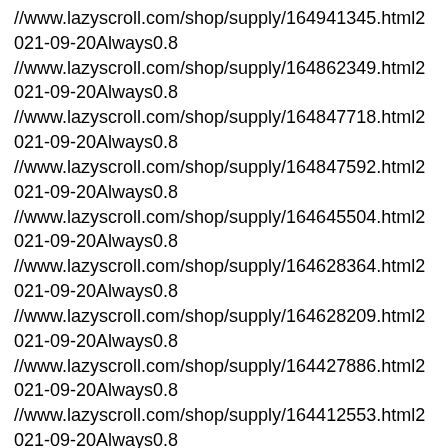//www.lazyscroll.com/shop/supply/164941345.html2021-09-20Always0.8
//www.lazyscroll.com/shop/supply/164862349.html2021-09-20Always0.8
//www.lazyscroll.com/shop/supply/164847718.html2021-09-20Always0.8
//www.lazyscroll.com/shop/supply/164847592.html2021-09-20Always0.8
//www.lazyscroll.com/shop/supply/164645504.html2021-09-20Always0.8
//www.lazyscroll.com/shop/supply/164628364.html2021-09-20Always0.8
//www.lazyscroll.com/shop/supply/164628209.html2021-09-20Always0.8
//www.lazyscroll.com/shop/supply/164427886.html2021-09-20Always0.8
//www.lazyscroll.com/shop/supply/164412553.html2021-09-20Always0.8
//www.lazyscroll.com/shop/supply/164317452.html2021-09-20Always0.8
//www.lazyscroll.com/shop/supply/164317398.html2021-09-20Always0.8
//www.lazyscroll.com/shop/supply/164299767.html2021-09-20Always0.8
//www.lazyscroll.com/shop/supply/164299629.html2021-09-